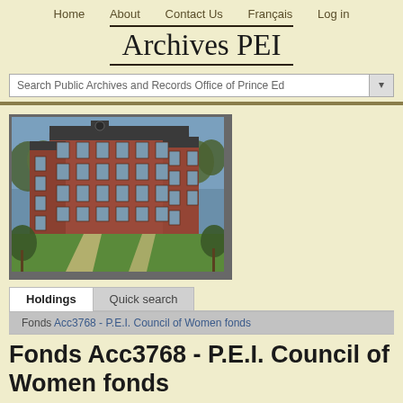Home   About   Contact Us   Français   Log in
Archives PEI
Search Public Archives and Records Office of Prince Ed
[Figure (photo): Exterior photo of a large red brick heritage building with multiple floors and arched windows, surrounded by trees with spring foliage, with a green lawn and pathway in the foreground, under a blue sky.]
Holdings   Quick search
Fonds Acc3768 - P.E.I. Council of Women fonds
Fonds Acc3768 - P.E.I. Council of Women fonds